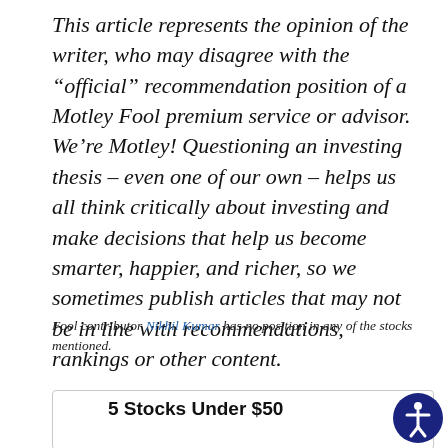This article represents the opinion of the writer, who may disagree with the “official” recommendation position of a Motley Fool premium service or advisor. We’re Motley! Questioning an investing thesis – even one of our own – helps us all think critically about investing and make decisions that help us become smarter, happier, and richer, so we sometimes publish articles that may not be in line with recommendations, rankings or other content.
Fool contributor Nikhil Kumar has no position in any of the stocks mentioned.
5 Stocks Under $50